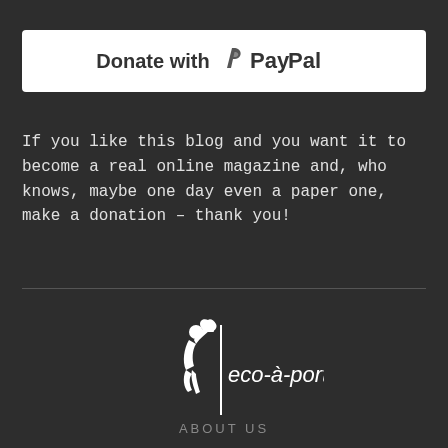[Figure (logo): Donate with PayPal button - white rounded rectangle banner with bold text 'Donate with' and PayPal logo]
If you like this blog and you want it to become a real online magazine and, who knows, maybe one day even a paper one, make a donation – thank you!
[Figure (logo): eco-à-porter brand logo with white silhouette of a person carrying a bag and stylized text 'eco-à-porter']
ABOUT US